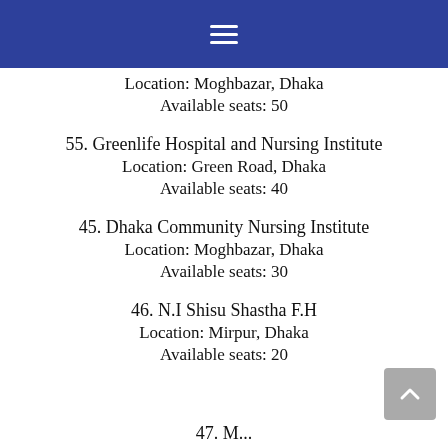≡
Location: Moghbazar, Dhaka
Available seats: 50
55. Greenlife Hospital and Nursing Institute
Location: Green Road, Dhaka
Available seats: 40
45. Dhaka Community Nursing Institute
Location: Moghbazar, Dhaka
Available seats: 30
46. N.I Shisu Shastha F.H
Location: Mirpur, Dhaka
Available seats: 20
47. M...